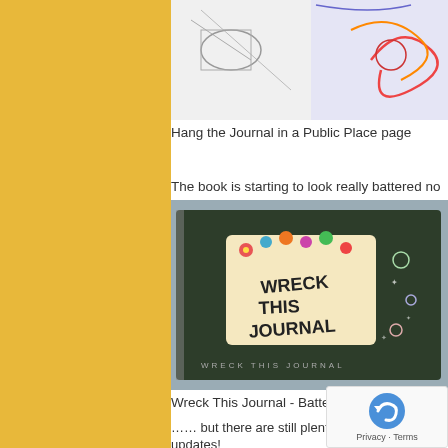[Figure (photo): Top portion of a journal page with drawing/art — partially visible at top of page]
Hang the Journal in a Public Place page
The book is starting to look really battered no
[Figure (photo): Photo of Wreck This Journal battered front cover, dark with colorful flower decorations and hand lettering]
Wreck This Journal - Battered Front Cover
…… but there are still plenty of p further updates!